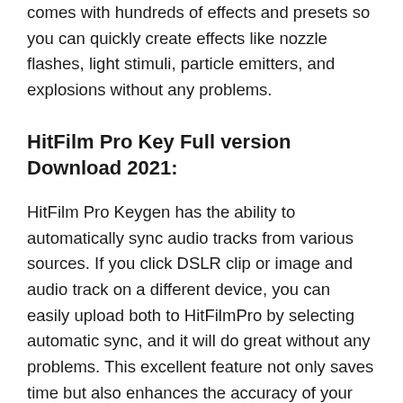comes with hundreds of effects and presets so you can quickly create effects like nozzle flashes, light stimuli, particle emitters, and explosions without any problems.
HitFilm Pro Key Full version Download 2021:
HitFilm Pro Keygen has the ability to automatically sync audio tracks from various sources. If you click DSLR clip or image and audio track on a different device, you can easily upload both to HitFilmPro by selecting automatic sync, and it will do great without any problems. This excellent feature not only saves time but also enhances the accuracy of your changes. Moreover, HitFilm Pro Patch comes with